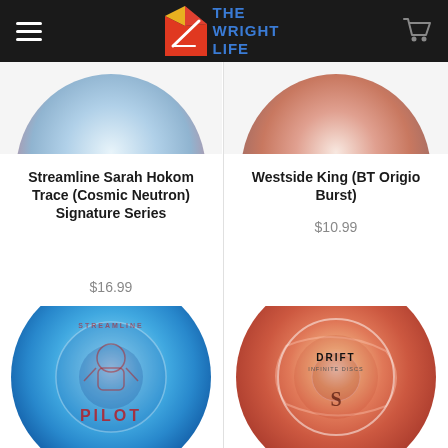The Wright Life
[Figure (photo): Top portion of a tie-dye disc golf disc (Streamline Cosmic Neutron, blue/pink tones)]
[Figure (photo): Top portion of a tie-dye disc golf disc (Westside King BT Origio Burst, red/orange tones)]
Streamline Sarah Hokom Trace (Cosmic Neutron) Signature Series
$16.99
Westside King (BT Origio Burst)
$10.99
[Figure (photo): Blue Streamline disc golf disc labeled PILOT with astronaut graphic]
[Figure (photo): Orange/red tie-dye Streamline disc golf disc labeled DRIFT]